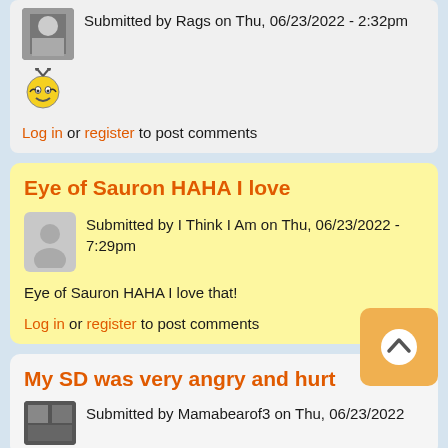Submitted by Rags on Thu, 06/23/2022 - 2:32pm
[Figure (illustration): Bee emoji / smiley face icon in yellow]
Log in or register to post comments
Eye of Sauron HAHA I love
Submitted by I Think I Am on Thu, 06/23/2022 - 7:29pm
Eye of Sauron HAHA I love that!
Log in or register to post comments
My SD was very angry and hurt
Submitted by Mamabearof3 on Thu, 06/23/2022